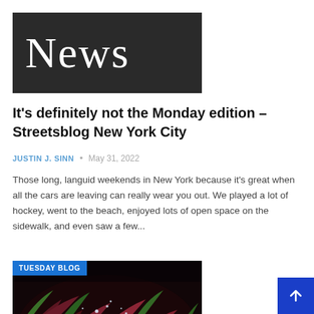[Figure (logo): Dark grey/black rectangle with white serif 'News' text]
It's definitely not the Monday edition – Streetsblog New York City
JUSTIN J. SINN • May 31, 2022
Those long, languid weekends in New York because it's great when all the cars are leaving can really wear you out. We played a lot of hockey, went to the beach, enjoyed lots of open space on the sidewalk, and even saw a few...
[Figure (photo): Photo of dark red and green leaves with water droplets, with a blue 'TUESDAY BLOG' badge in the upper left corner]